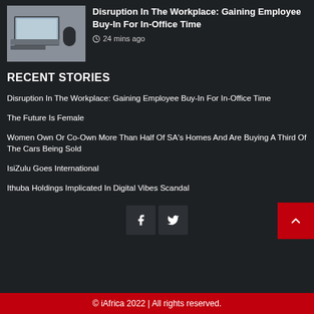[Figure (photo): Laptop on desk with notebook and coffee mug, office workspace photo]
Disruption In The Workplace: Gaining Employee Buy-In For In-Office Time
24 mins ago
RECENT STORIES
Disruption In The Workplace: Gaining Employee Buy-In For In-Office Time
The Future Is Female
Women Own Or Co-Own More Than Half Of SA's Homes And Are Buying A Third Of The Cars Being Sold
IsiZulu Goes International
Ithuba Holdings Implicated In Digital Vibes Scandal
© iAfrica 2022 | All rights reserved.